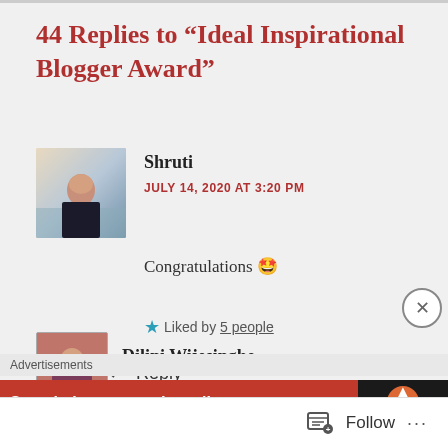44 Replies to “Ideal Inspirational Blogger Award”
Shruti
JULY 14, 2020 AT 3:20 PM
Congratulations 🤩
Liked by 5 people
Reply
Dilini Wijesinghe
Advertisements
Search, browse, and email